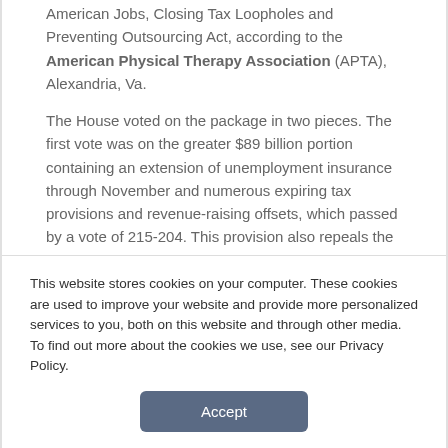American Jobs, Closing Tax Loopholes and Preventing Outsourcing Act, according to the American Physical Therapy Association (APTA), Alexandria, Va.
The House voted on the package in two pieces. The first vote was on the greater $89 billion portion containing an extension of unemployment insurance through November and numerous expiring tax provisions and revenue-raising offsets, which passed by a vote of 215-204. This provision also repeals the delay of Version 4 of the Resource Utilization Groups (RUG IV) for purposes of reimbursing skilled nursing
This website stores cookies on your computer. These cookies are used to improve your website and provide more personalized services to you, both on this website and through other media. To find out more about the cookies we use, see our Privacy Policy.